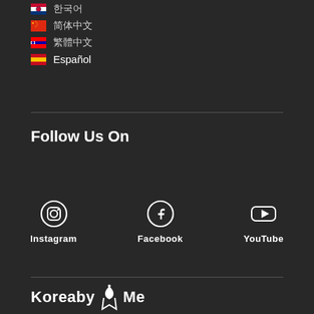🇰🇷 한국어
🇨🇳 简体中文
🇹🇼 繁體中文
🇪🇸 Español
Follow Us On
[Figure (logo): Instagram icon (camera outline circle)]
Instagram
[Figure (logo): Facebook icon (f in circle)]
Facebook
[Figure (logo): YouTube icon (play button in rounded rectangle)]
YouTube
KoreabMe